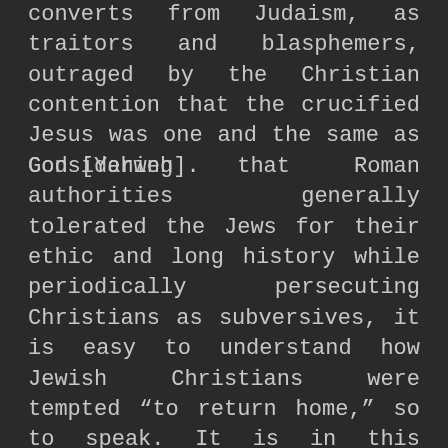converts from Judaism, as traitors and blasphemers, outraged by the Christian contention that the crucified Jesus was one and the same as God [Yahweh].
Considering that Roman authorities generally tolerated the Jews for their ethic and long history while periodically persecuting Christians as subversives, it is easy to understand how Jewish Christians were tempted “to return home,” so to speak. It is in this context that the Gospel of Matthew developed, a text written to establish for all time that Jesus is the Messiah, the true son of Abraham, the new Moses, who has come to deliver the fullness of the Law and the fulfillment of Old Testament